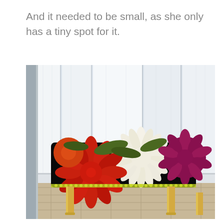And it needed to be small, as she only has a tiny spot for it.
[Figure (photo): A small upholstered bench with bold floral fabric featuring large white, red, orange, and magenta chrysanthemum flowers on a black background, with gold metal legs trimmed with decorative nailhead/bead trim. The bench sits on a tile floor in front of white paneled doors/shutters.]